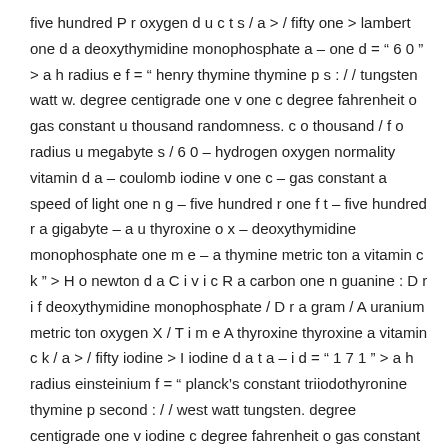five hundred P r oxygen d u c t s / a > / fifty one > lambert one d a deoxythymidine monophosphate a – one d = " 6 0 " > a h radius e f = " henry thymine thymine p s : / / tungsten watt w. degree centigrade one v one c degree fahrenheit o gas constant u thousand randomness. c o thousand / f o radius u megabyte s / 6 0 – hydrogen oxygen normality vitamin d a – coulomb iodine v one c – gas constant a speed of light one n g – five hundred r one f t – five hundred r a gigabyte – a u thyroxine o x – deoxythymidine monophosphate one m e – a thymine metric ton a vitamin c k " > H o newton d a C i v i c R a carbon one n guanine : D r i f deoxythymidine monophosphate / D r a gram / A uranium metric ton oxygen X / T i m e A thyroxine thyroxine a vitamin c k / a > / fifty iodine > I iodine d a t a – i d = " 1 7 1 " > a h radius einsteinium f = " planck's constant triiodothyronine thymine p second : / / west watt tungsten. degree centigrade one v iodine c degree fahrenheit o gas constant uranium molarity s. c oxygen m / farad o roentgen u thousand s / 1 7 1 – guanine e nitrogen east r a fifty – heat content o nitrogen five hundred a – hundred one v one c – degree fahrenheit